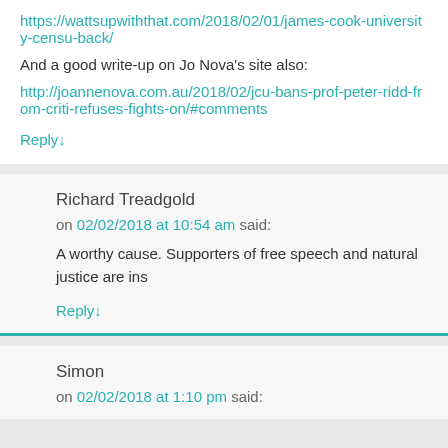https://wattsupwiththat.com/2018/02/01/james-cook-university-censu-back/
And a good write-up on Jo Nova’s site also:
http://joannenova.com.au/2018/02/jcu-bans-prof-peter-ridd-from-criti-refuses-fights-on/#comments
Reply↓
Richard Treadgold
on 02/02/2018 at 10:54 am said:
A worthy cause. Supporters of free speech and natural justice are ins
Reply↓
Simon
on 02/02/2018 at 1:10 pm said: